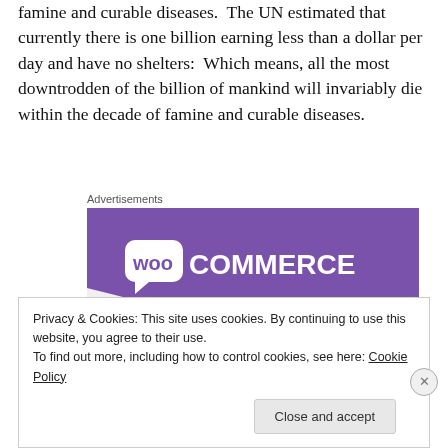famine and curable diseases.  The UN estimated that currently there is one billion earning less than a dollar per day and have no shelters:  Which means, all the most downtrodden of the billion of mankind will invariably die within the decade of famine and curable diseases.
[Figure (other): WooCommerce advertisement banner with purple background and white WooCommerce logo text with speech bubble icon, and teal/green triangle shape at bottom left]
Privacy & Cookies: This site uses cookies. By continuing to use this website, you agree to their use.
To find out more, including how to control cookies, see here: Cookie Policy